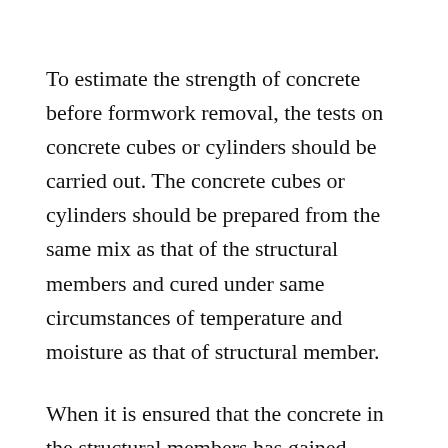To estimate the strength of concrete before formwork removal, the tests on concrete cubes or cylinders should be carried out. The concrete cubes or cylinders should be prepared from the same mix as that of the structural members and cured under same circumstances of temperature and moisture as that of structural member.
When it is ensured that the concrete in the structural members has gained sufficient strength to withstand the design load, only then formworks should be removed. If possible,